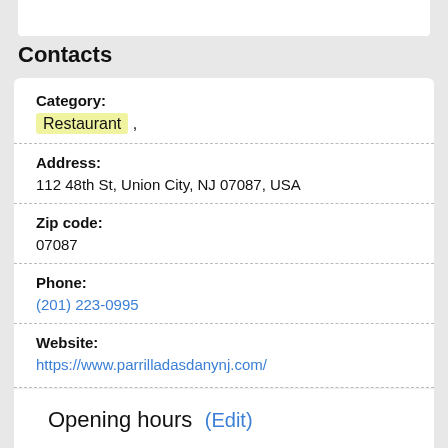Contacts
Category:
Restaurant ,
Address:
112 48th St, Union City, NJ 07087, USA
Zip code:
07087
Phone:
(201) 223-0995
Website:
https://www.parrilladasdanynj.com/
Opening hours (Edit)
Monday: